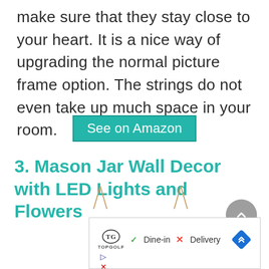make sure that they stay close to your heart. It is a nice way of upgrading the normal picture frame option. The strings do not even take up much space in your room.
See on Amazon
3. Mason Jar Wall Decor with LED Lights and Flowers
[Figure (photo): Partial advertisement banner with Topgolf logo, Dine-in checkmark, Delivery X mark, and navigation arrow diamond icon. Play and close control icons visible at bottom left.]